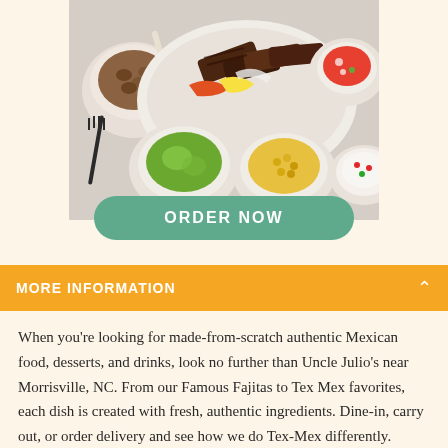[Figure (photo): Overhead shot of Mexican food spread including grilled fajita meat, guacamole, beans, rice, pico de gallo, and other dishes on a table]
ORDER NOW
MORE INFORMATION
When you're looking for made-from-scratch authentic Mexican food, desserts, and drinks, look no further than Uncle Julio's near Morrisville, NC. From our Famous Fajitas to Tex Mex favorites, each dish is created with fresh, authentic ingredients. Dine-in, carry out, or order delivery and see how we do Tex-Mex differently.